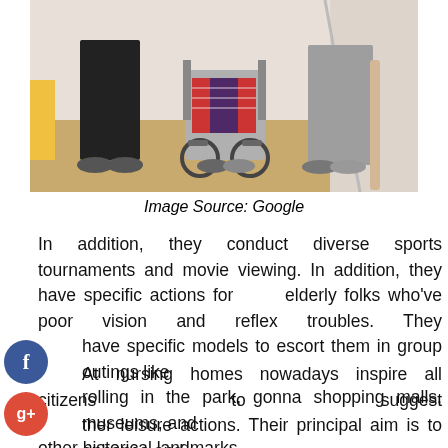[Figure (photo): Two people standing with a wheelchair between them in an indoor hallway with wood flooring.]
Image Source: Google
In addition, they conduct diverse sports tournaments and movie viewing. In addition, they have specific actions for elderly folks who've poor vision and reflex troubles. They have specific models to escort them in group outings like rolling in the park, gonna shopping malls, museums, and other historical landmarks.
At nursing homes nowadays inspire all citizens to suggest other leisure actions. Their principal aim is to enhance and maintain an elevated mood state. In addition, they intend to offer households a way to entertain their loved ones. This guarantees that your relatives get comprehensive